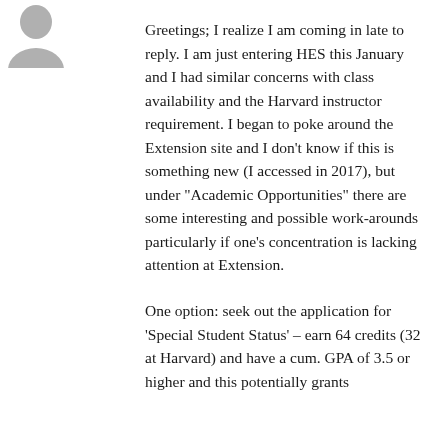[Figure (illustration): Gray silhouette avatar icon of a person, top-left corner]
Greetings; I realize I am coming in late to reply. I am just entering HES this January and I had similar concerns with class availability and the Harvard instructor requirement. I began to poke around the Extension site and I don't know if this is something new (I accessed in 2017), but under "Academic Opportunities" there are some interesting and possible work-arounds particularly if one's concentration is lacking attention at Extension.
One option: seek out the application for 'Special Student Status' – earn 64 credits (32 at Harvard) and have a cum. GPA of 3.5 or higher and this potentially grants